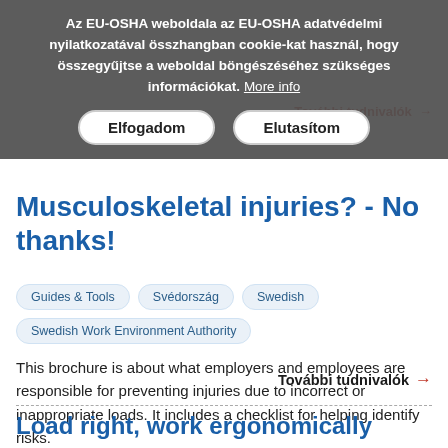Az EU-OSHA weboldala az EU-OSHA adatvédelmi nyilatkozatával összhangban cookie-kat használ, hogy összegyűjtse a weboldal böngészéséhez szükséges információkat. More info
Elfogadom  Elutasítom
Musculoskeletal injuries? - No thanks!
Guides & Tools
Svédország
Swedish
Swedish Work Environment Authority
This brochure is about what employers and employees are responsible for preventing injuries due to incorrect or inappropriate loads. It includes a checklist for helping identify risks.
További tudnivalók →
Load right, work ergonomically